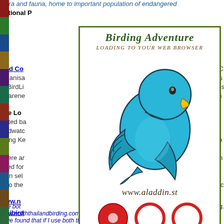flora and fauna, home to important population of endangered
National Park lodges at
Bird Co... The Bird C... organisation... and and is... of BirdLi... community is... awareness... e back to n...
The Lo... Dated b... y-formed “... Birdwatc... psychus s... Gang Ke... esent the o...
There a... sed them n... need fo... e informati... then sel... everything... in to the... haibirding.c...
www.n... for all you...
thaibird... ll your bird...
Use bot... andbirding.c... www.norththailandbirding.com are way better than Nick Upto... have found that if I use both the web pages for information, w...
[Figure (illustration): Birding Adventure popup window showing a cartoon blue bird, the text 'BIRDING ADVENTURE / Loading to your web browser', the URL www.aladdin.st, and three red circles at the bottom. The popup has a green border.]